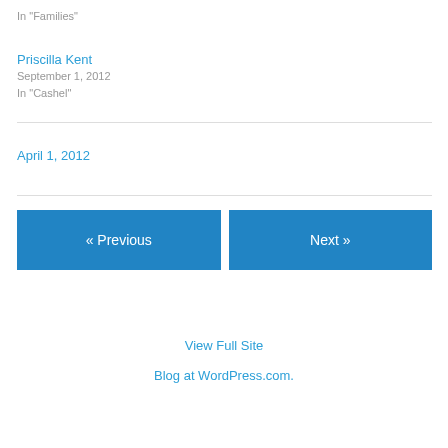In "Families"
Priscilla Kent
September 1, 2012
In "Cashel"
April 1, 2012
« Previous
Next »
View Full Site
Blog at WordPress.com.